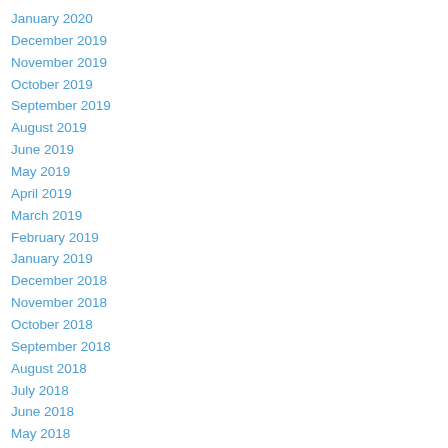January 2020
December 2019
November 2019
October 2019
September 2019
August 2019
June 2019
May 2019
April 2019
March 2019
February 2019
January 2019
December 2018
November 2018
October 2018
September 2018
August 2018
July 2018
June 2018
May 2018